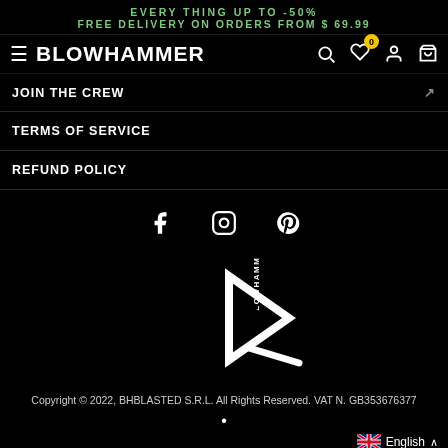EVERYTHING UP TO -50%
FREE DELIVERY ON ORDERS FROM $ 69.99
[Figure (logo): Blowhammer brand navigation bar with hamburger menu, logo text, search, wishlist with badge 0, account, and cart icons]
JOIN THE CREW
TERMS OF SERVICE
REFUND POLICY
[Figure (infographic): Social media icons row: Facebook, Instagram, Pinterest]
[Figure (logo): Blowhammer logo — triangle play-button arrow shape with BLOWHAMMER text vertical on left]
Copyright © 2022, BHBLASTED S.R.L. All Rights Reserved. VAT N. GB353676377
English